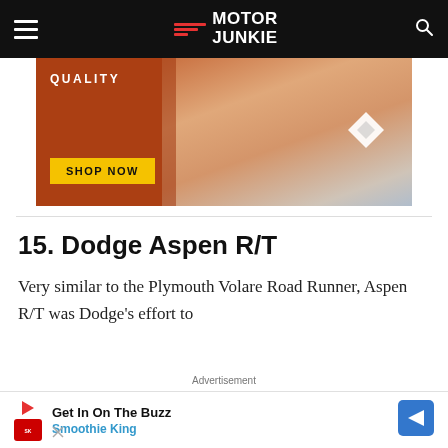Motor Junkie
[Figure (photo): Advertisement banner showing a woman with blonde hair against an orange-brown background, with text 'QUALITY' and a yellow 'SHOP NOW' button, and a brand logo mark on the right.]
15. Dodge Aspen R/T
Very similar to the Plymouth Volare Road Runner, Aspen R/T was Dodge's effort to
Advertisement
[Figure (other): Bottom advertisement banner for Smoothie King — 'Get In On The Buzz' with Smoothie King logo and a blue diamond arrow icon.]